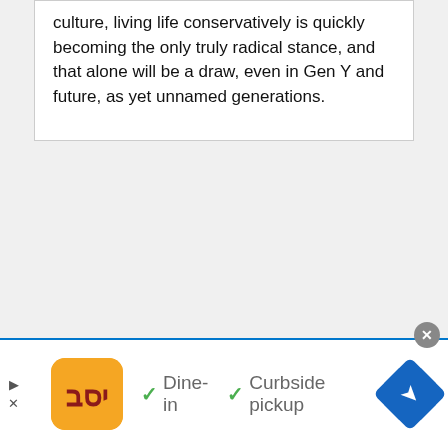culture, living life conservatively is quickly becoming the only truly radical stance, and that alone will be a draw, even in Gen Y and future, as yet unnamed generations.
[Figure (screenshot): Advertisement bar at bottom of page showing Wegmans logo, dine-in and curbside pickup options with checkmarks, navigation icon, and close button]